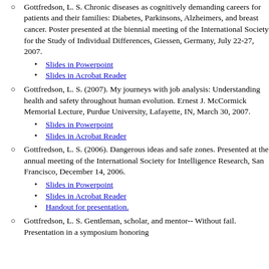Slides in Acrobat Reader
Gottfredson, L. S. Chronic diseases as cognitively demanding careers for patients and their families: Diabetes, Parkinsons, Alzheimers, and breast cancer. Poster presented at the biennial meeting of the International Society for the Study of Individual Differences, Giessen, Germany, July 22-27, 2007.
Slides in Powerpoint
Slides in Acrobat Reader
Gottfredson, L. S. (2007). My journeys with job analysis: Understanding health and safety throughout human evolution. Ernest J. McCormick Memorial Lecture, Purdue University, Lafayette, IN, March 30, 2007.
Slides in Powerpoint
Slides in Acrobat Reader
Gottfredson, L. S. (2006). Dangerous ideas and safe zones. Presented at the annual meeting of the International Society for Intelligence Research, San Francisco, December 14, 2006.
Slides in Powerpoint
Slides in Acrobat Reader
Handout for presentation.
Gottfredson, L. S. Gentleman, scholar, and mentor-- Without fail. Presentation in a symposium honoring